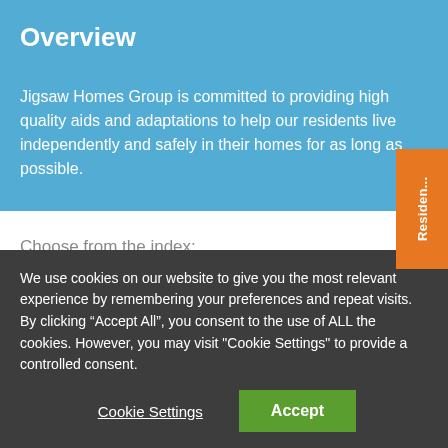Overview
Jigsaw Homes Group is committed to providing high quality aids and adaptations to help our residents live independently and safely in their homes for as long as possible.
Choose from the index:
--- Select ---
We use cookies on our website to give you the most relevant experience by remembering your preferences and repeat visits. By clicking “Accept All”, you consent to the use of ALL the cookies. However, you may visit "Cookie Settings" to provide a controlled consent.
Cookie Settings
Accept